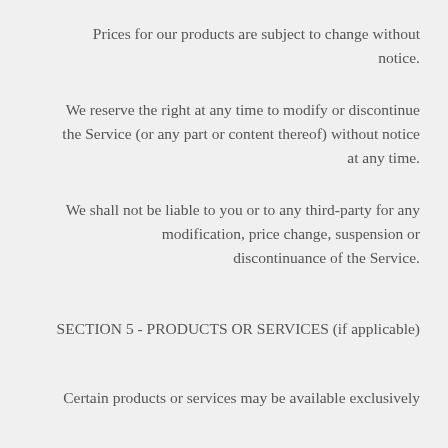Prices for our products are subject to change without notice.
We reserve the right at any time to modify or discontinue the Service (or any part or content thereof) without notice at any time.
We shall not be liable to you or to any third-party for any modification, price change, suspension or discontinuance of the Service.
SECTION 5 - PRODUCTS OR SERVICES (if applicable)
Certain products or services may be available exclusively